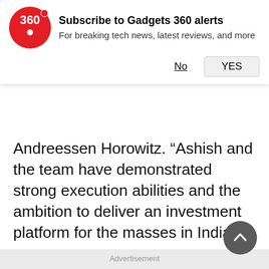[Figure (screenshot): Gadgets 360 notification subscription banner with red circular logo displaying '360', bold title 'Subscribe to Gadgets 360 alerts', subtitle 'For breaking tech news, latest reviews, and more', and two buttons: 'No' (underlined) and 'YES' (button)]
Andreessen Horowitz. “Ashish and the team have demonstrated strong execution abilities and the ambition to deliver an investment platform for the masses in India.”
Advertisement